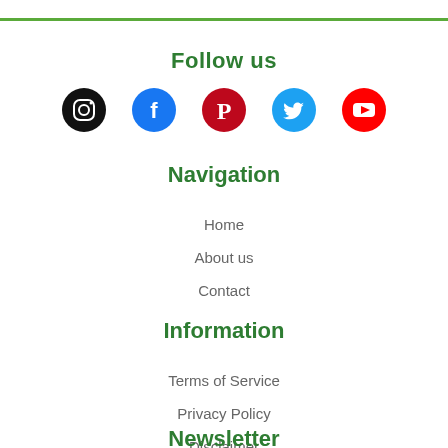[Figure (infographic): Green horizontal rule at top of page]
Follow us
[Figure (infographic): Row of 5 social media icons: Instagram (black circle), Facebook (blue circle), Pinterest (dark red circle), Twitter (blue circle), YouTube (red circle)]
Navigation
Home
About us
Contact
Information
Terms of Service
Privacy Policy
Disclaimer
Newsletter